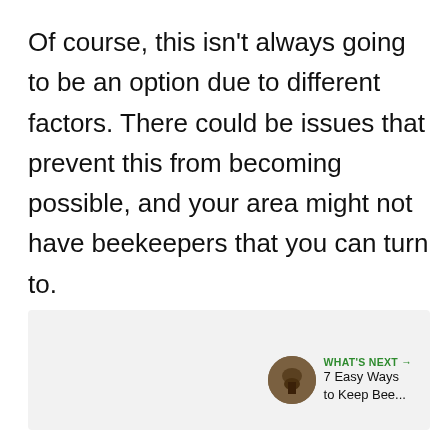Of course, this isn't always going to be an option due to different factors. There could be issues that prevent this from becoming possible, and your area might not have beekeepers that you can turn to.
[Figure (screenshot): UI elements: a heart/like button (green circle), a share button (white circle with share icon), and a 'What's Next' card showing a thumbnail image and text '7 Easy Ways to Keep Bee...']